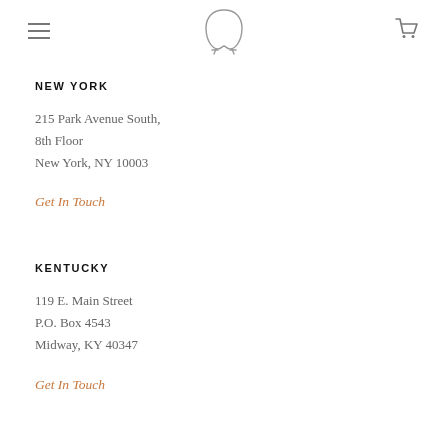[horseshoe logo, hamburger menu, cart icon]
NEW YORK
215 Park Avenue South,
8th Floor
New York, NY 10003
Get In Touch
KENTUCKY
119 E. Main Street
P.O. Box 4543
Midway, KY 40347
Get In Touch